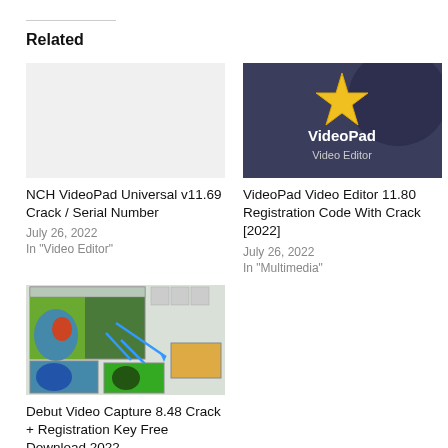Related
[Figure (photo): Blank/empty placeholder image for NCH VideoPad Universal v11.69]
NCH VideoPad Universal v11.69 Crack / Serial Number
July 26, 2022
In "Video Editor"
[Figure (photo): VideoPad Video Editor logo with gold star on dark blue/grey background]
VideoPad Video Editor 11.80 Registration Code With Crack [2022]
July 26, 2022
In "Multimedia"
[Figure (screenshot): Debut Video Capture software screenshot showing video editing interface with arrows pointing to multiple panels]
Debut Video Capture 8.48 Crack + Registration Key Free Download 2022
July 27, 2022